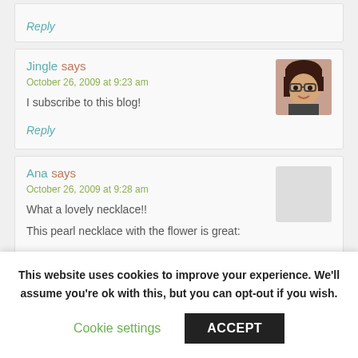Reply
Jingle says
October 26, 2009 at 9:23 am
I subscribe to this blog!
Reply
[Figure (photo): Avatar photo of Jingle, a person with dark hair and glasses]
Ana says
October 26, 2009 at 9:28 am
What a lovely necklace!!
This pearl necklace with the flower is great:
This website uses cookies to improve your experience. We'll assume you're ok with this, but you can opt-out if you wish.
Cookie settings
ACCEPT